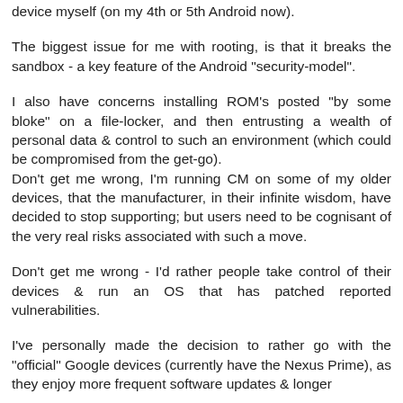device myself (on my 4th or 5th Android now).
The biggest issue for me with rooting, is that it breaks the sandbox - a key feature of the Android "security-model".
I also have concerns installing ROM's posted "by some bloke" on a file-locker, and then entrusting a wealth of personal data & control to such an environment (which could be compromised from the get-go).
Don't get me wrong, I'm running CM on some of my older devices, that the manufacturer, in their infinite wisdom, have decided to stop supporting; but users need to be cognisant of the very real risks associated with such a move.
Don't get me wrong - I'd rather people take control of their devices & run an OS that has patched reported vulnerabilities.
I've personally made the decision to rather go with the "official" Google devices (currently have the Nexus Prime), as they enjoy more frequent software updates & longer